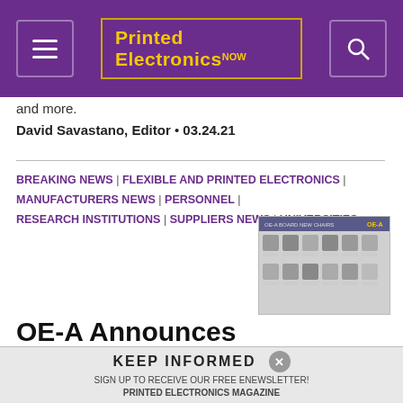Printed Electronics NOW
and more.
David Savastano, Editor  •  03.24.21
BREAKING NEWS | FLEXIBLE AND PRINTED ELECTRONICS | MANUFACTURERS NEWS | PERSONNEL | RESEARCH INSTITUTIONS | SUPPLIERS NEWS | UNIVERSITIES
[Figure (photo): Grid of headshot photos of OE-A new board of directors members]
OE-A Announces New Board of Directors
Stan Farnsworth of NovaCentrix confirmed as the chair